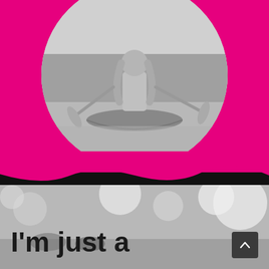[Figure (photo): Top section with magenta/pink background and a large circular cropped grayscale photo of a person in a canoe with a paddle, viewed from behind, on a lake with trees in the background. Below the circle is a wavy divider between the pink section and a dark/gray section.]
[Figure (photo): Bottom section with a grayscale blurred background photo showing bokeh lights and a crowd scene.]
I'm just a
[Figure (other): Dark rounded square button with an upward chevron arrow (back-to-top button) in the bottom right corner.]